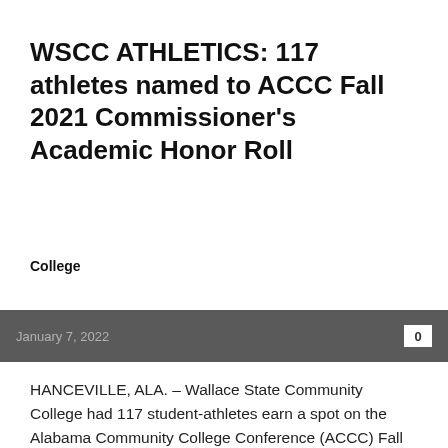WSCC ATHLETICS: 117 athletes named to ACCC Fall 2021 Commissioner's Academic Honor Roll
College
January 7, 2022
HANCEVILLE, ALA. – Wallace State Community College had 117 student-athletes earn a spot on the Alabama Community College Conference (ACCC) Fall 2021 Commissioner's Academic Honor Roll. All recognized on the list achieved a 3.0 GPA or higher. Wallace State student-athletes earning